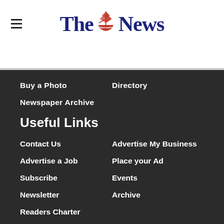[Figure (logo): The News newspaper logo with hamburger menu icon and red sailing ship illustration between 'The' and 'News' in dark blue bold serif font]
Buy a Photo
Directory
Newspaper Archive
Useful Links
Contact Us
Advertise My Business
Advertise a Job
Place your Ad
Subscribe
Events
Newsletter
Archive
Readers Charter
©National World  ©National World Publishing Ltd. All rights reserved.  Cookie Settings | Terms and Conditions | Privacy notice | Modern Slavery Statement